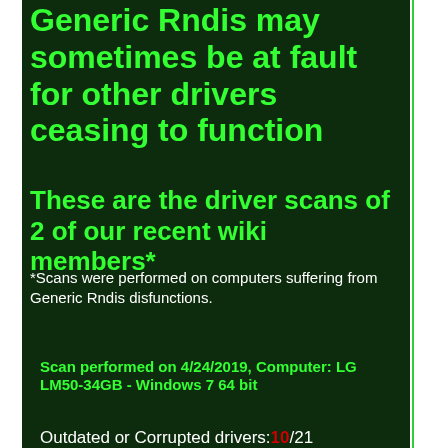Generic Rndis may sometimes be at fault for other drivers ceasing to function
These are the driver scans of 2 of our recent wiki members*
*Scans were performed on computers suffering from Generic Rndis disfunctions.
Scan performed on 4/24/2019, Computer: LG LM50-34GB - Windows 7 64 bit
Outdated or Corrupted drivers:10/21
| Device/Driver | Status |
| --- | --- |